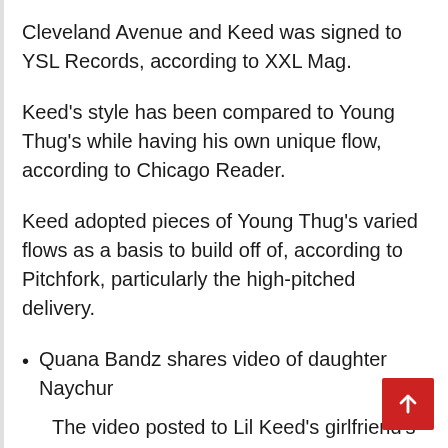Cleveland Avenue and Keed was signed to YSL Records, according to XXL Mag.
Keed's style has been compared to Young Thug's while having his own unique flow, according to Chicago Reader.
Keed adopted pieces of Young Thug's varied flows as a basis to build off of, according to Pitchfork, particularly the high-pitched delivery.
Quana Bandz shares video of daughter Naychur
The video posted to Lil Keed's girlfriend's Instagram account features daughter Naychur bopping her head to one of her